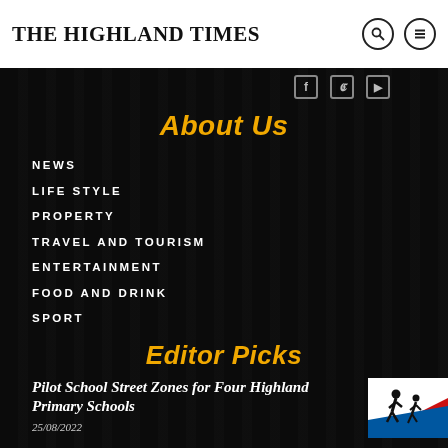THE HIGHLAND TIMES
About Us
NEWS
LIFE STYLE
PROPERTY
TRAVEL AND TOURISM
ENTERTAINMENT
FOOD AND DRINK
SPORT
Editor Picks
Pilot School Street Zones for Four Highland Primary Schools
25/08/2022
[Figure (photo): School crossing warning sign with running children silhouette on red, white and blue background]